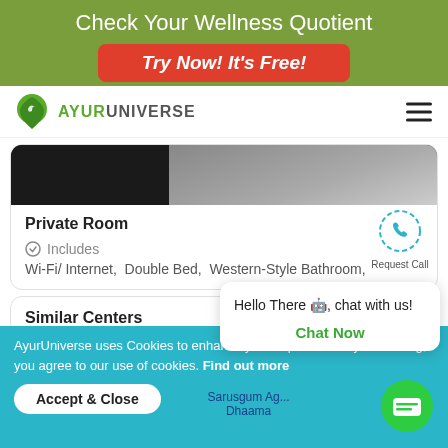Check Your Wellness Quotient
Try Now! It's Free!
[Figure (logo): AyurUniverse logo with green leaf map pin icon and text AYURUNIVERSE]
[Figure (photo): Partial photo of a room interior showing dark flooring and walls]
Private Room
Includes
Wi-Fi/ Internet,  Double Bed,  Western-Style Bathroom,
Request Call
Similar Centers
Hello There 🤖, chat with us!
Chat Now
AyurUniverse uses Cookies to enhance your experience. By continuing, you agree to our use of cookies. Find out more
Accept & Close
Sarusgum Ag... Dhaama